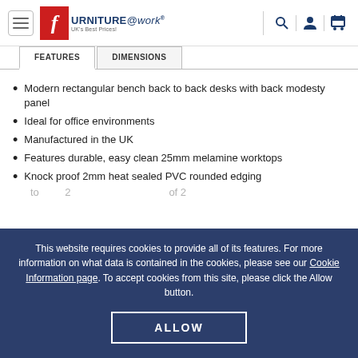[Figure (logo): Furniture@work logo with red F icon and tagline UK's Best Prices!]
FEATURES | DIMENSIONS
Modern rectangular bench back to back desks with back modesty panel
Ideal for office environments
Manufactured in the UK
Features durable, easy clean 25mm melamine worktops
Knock proof 2mm heat sealed PVC rounded edging
This website requires cookies to provide all of its features. For more information on what data is contained in the cookies, please see our Cookie Information page. To accept cookies from this site, please click the Allow button.
ALLOW